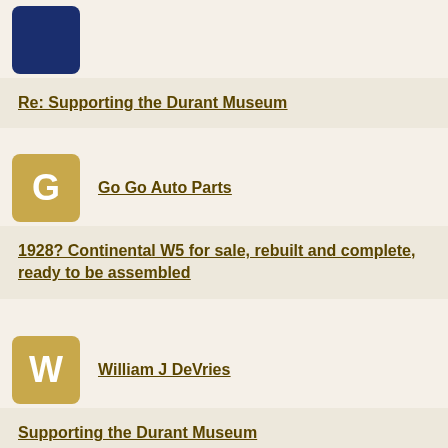Re: Supporting the Durant Museum
Go Go Auto Parts
1928? Continental W5 for sale, rebuilt and complete, ready to be assembled
William J DeVries
Supporting the Durant Museum
mark armer